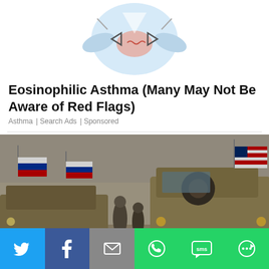[Figure (illustration): Cartoon illustration of a person touching their chest/throat area, suggesting respiratory discomfort, with light blue and pink tones]
Eosinophilic Asthma (Many May Not Be Aware of Red Flags)
Asthma | Search Ads | Sponsored
[Figure (photo): Military vehicles and soldiers with Russian and American flags visible, in a dusty outdoor setting]
[Figure (infographic): Social media sharing bar with Twitter, Facebook, Email, WhatsApp, SMS, and More buttons]